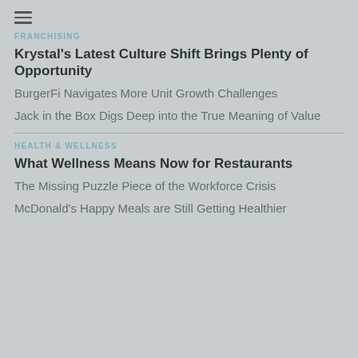[Figure (other): Hamburger menu icon (three horizontal lines)]
FRANCHISING
Krystal's Latest Culture Shift Brings Plenty of Opportunity
BurgerFi Navigates More Unit Growth Challenges
Jack in the Box Digs Deep into the True Meaning of Value
HEALTH & WELLNESS
What Wellness Means Now for Restaurants
The Missing Puzzle Piece of the Workforce Crisis
McDonald's Happy Meals are Still Getting Healthier